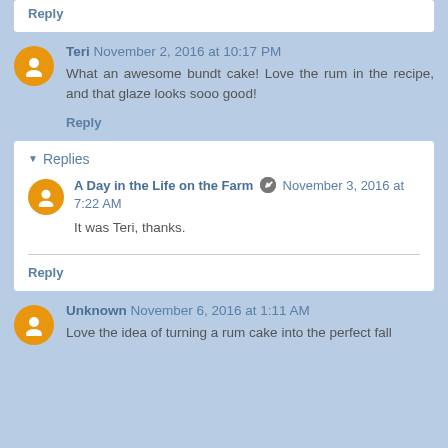Reply
Teri November 2, 2016 at 10:17 PM
What an awesome bundt cake! Love the rum in the recipe, and that glaze looks sooo good!
Reply
Replies
A Day in the Life on the Farm November 3, 2016 at 7:22 AM
It was Teri, thanks.
Reply
Unknown November 6, 2016 at 1:11 AM
Love the idea of turning a rum cake into the perfect fall